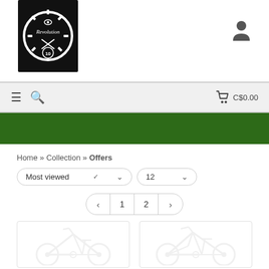[Figure (logo): Revolution Cycles circular logo with gear border on black background]
[Figure (illustration): User/account silhouette icon]
≡  🔍   🛒 C$0.00
Home » Collection » Offers
Most viewed   ▾     12   ▾
‹   1   2   ›
[Figure (illustration): Bicycle product image placeholder (light gray bike silhouette)]
[Figure (illustration): Bicycle product image placeholder (light gray bike silhouette)]